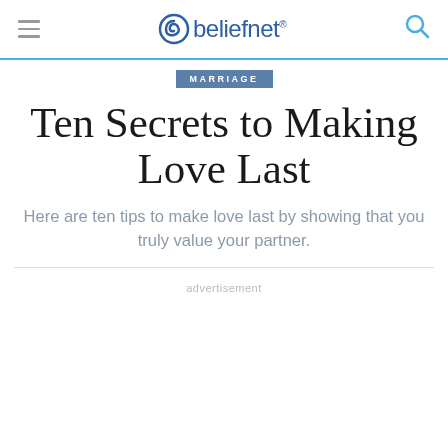beliefnet
MARRIAGE
Ten Secrets to Making Love Last
Here are ten tips to make love last by showing that you truly value your partner.
advertisement